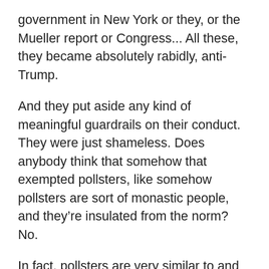government in New York or they, or the Mueller report or Congress... All these, they became absolutely rabidly, anti-Trump.
And they put aside any kind of meaningful guardrails on their conduct. They were just shameless. Does anybody think that somehow that exempted pollsters, like somehow pollsters are sort of monastic people, and they're insulated from the norm? No.
In fact, pollsters are very similar to and some of them are actually tucked within academic institutions. But they're very similar to academics. They think that they're smarter